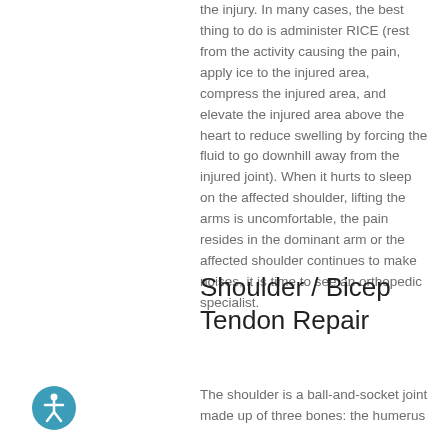the injury. In many cases, the best thing to do is administer RICE (rest from the activity causing the pain, apply ice to the injured area, compress the injured area, and elevate the injured area above the heart to reduce swelling by forcing the fluid to go downhill away from the injured joint). When it hurts to sleep on the affected shoulder, lifting the arms is uncomfortable, the pain resides in the dominant arm or the affected shoulder continues to make noises, it is time to see an orthopedic specialist.
Shoulder / Bicep Tendon Repair
The shoulder is a ball-and-socket joint made up of three bones: the humerus